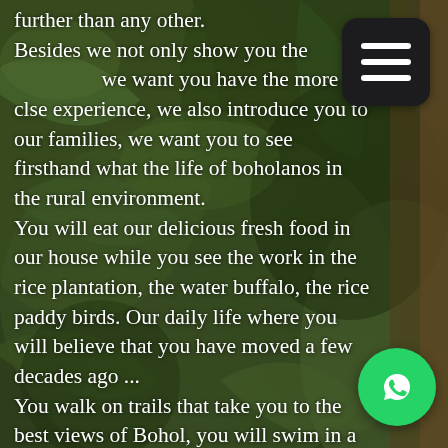[Figure (photo): Green tropical foliage background with dark shadows and bokeh, serving as the page background.]
further than any other. Besides we not only show you the [menu icon area] we want you have the more clse experience, we also introduce you to our families, we want you to see firsthand what the life of boholanos in the rural environment. You will eat our delicious fresh food in our house while you see the work in the rice plantation, the water buffalo, the rice paddy birds. Our daily life where you will believe that you have moved a few decades ago ... You walk on trails that take you to the best views of Bohol, you will swim in a waterfall. Also you can extend this Bohol tour and swim on an enchanted river at night under the